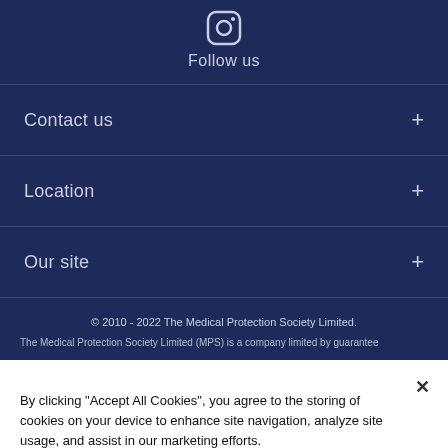[Figure (logo): Instagram icon (camera outline) in white on dark navy background]
Follow us
Contact us +
Location +
Our site +
© 2010 - 2022 The Medical Protection Society Limited.
The Medical Protection Society Limited (MPS) is a company limited by guarantee
By clicking "Accept All Cookies", you agree to the storing of cookies on your device to enhance site navigation, analyze site usage, and assist in our marketing efforts.
Cookies Settings
Accept All Cookies